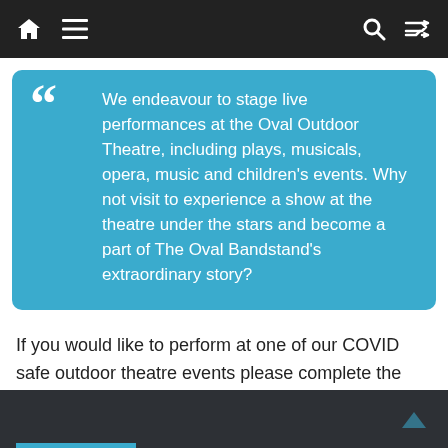Navigation bar with home, menu, search, and shuffle icons
We endeavour to stage live performances at the Oval Outdoor Theatre, including plays, musicals, opera, music and children's events. Why not visit to experience a show at the theatre under the stars and become a part of The Oval Bandstand's extraordinary story?
If you would like to perform at one of our COVID safe outdoor theatre events please complete the enquiry form HERE.
Dark footer bar with back-to-top arrow